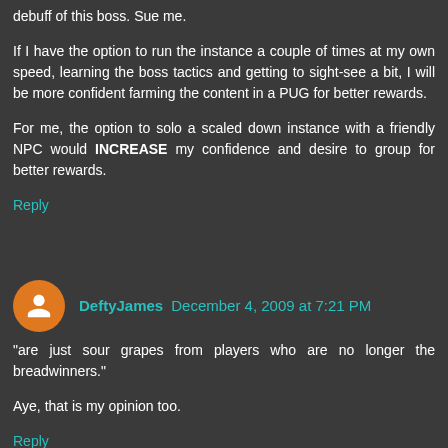debuff of this boss. Sue me.
If I have the option to run the instance a couple of times at my own speed, learning the boss tactics and getting to sight-see a bit, I will be more confident farming the content in a PUG for better rewards.
For me, the option to solo a scaled down instance with a friendly NPC would INCREASE my confidence and desire to group for better rewards.
Reply
DeftyJames December 4, 2009 at 7:21 PM
"are just sour grapes from players who are no longer the breadwinners."
Aye, that is my opinion too.
Reply